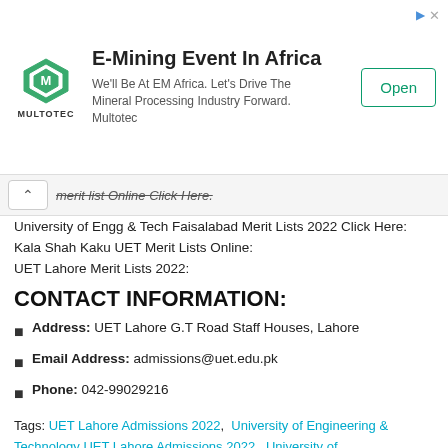[Figure (other): Advertisement banner for Multotec E-Mining Event In Africa with logo, description text, and Open button]
merit list Online Click Here.
University of Engg & Tech Faisalabad Merit Lists 2022 Click Here:
Kala Shah Kaku UET Merit Lists Online:
UET Lahore Merit Lists 2022:
CONTACT INFORMATION:
Address: UET Lahore G.T Road Staff Houses, Lahore
Email Address: admissions@uet.edu.pk
Phone: 042-99029216
Tags: UET Lahore Admissions 2022, University of Engineering & Technology UET Lahore Admissions 2022, University of Engineering & Technology UET Lahore Admissions 2022 Last Date